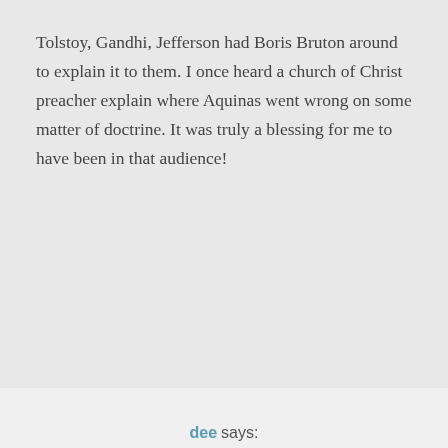Tolstoy, Gandhi, Jefferson had Boris Bruton around to explain it to them. I once heard a church of Christ preacher explain where Aquinas went wrong on some matter of doctrine. It was truly a blessing for me to have been in that audience!
dee says: September 23, 2011 at 7:16 am
Our reasoning is of this earth, whereas God's